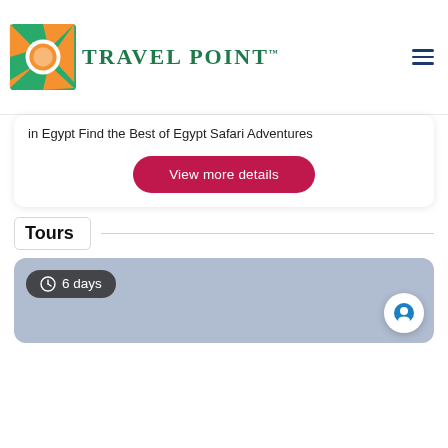[Figure (logo): Travel Point logo with sun/star graphic in orange and green, circular design]
in Egypt Find the Best of Egypt Safari Adventures
View more details
Tours
6 days